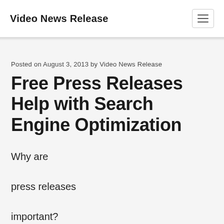Video News Release
Posted on August 3, 2013 by Video News Release
Free Press Releases Help with Search Engine Optimization
Why are press releases important?